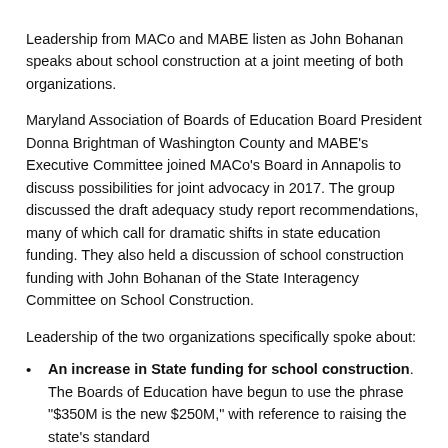Leadership from MACo and MABE listen as John Bohanan speaks about school construction at a joint meeting of both organizations.
Maryland Association of Boards of Education Board President Donna Brightman of Washington County and MABE’s Executive Committee joined MACo’s Board in Annapolis to discuss possibilities for joint advocacy in 2017. The group discussed the draft adequacy study report recommendations, many of which call for dramatic shifts in state education funding. They also held a discussion of school construction funding with John Bohanan of the State Interagency Committee on School Construction.
Leadership of the two organizations specifically spoke about:
An increase in State funding for school construction. The Boards of Education have begun to use the phrase “$350M is the new $250M,” with reference to raising the state’s standard